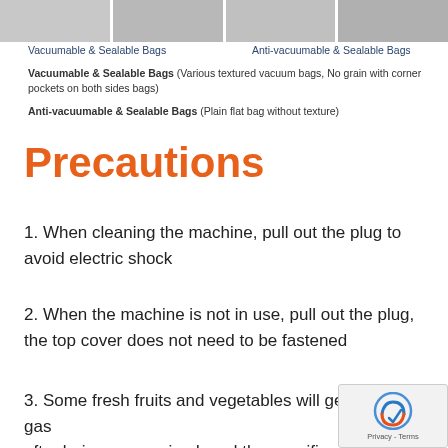[Figure (photo): Strip of product images showing vacuum bags at the top of the page]
Vacuumable & Sealable Bags
Anti-vacuumable & Sealable Bags
Vacuumable & Sealable Bags (Various textured vacuum bags, No grain with corner pockets on both sides bags)
Anti-vacuumable & Sealable Bags (Plain flat bag without texture)
Precautions
1. When cleaning the machine, pull out the plug to avoid electric shock
2. When the machine is not in use, pull out the plug, the top cover does not need to be fastened
3. Some fresh fruits and vegetables will generate gas after being vacuumized, and the specific storage method